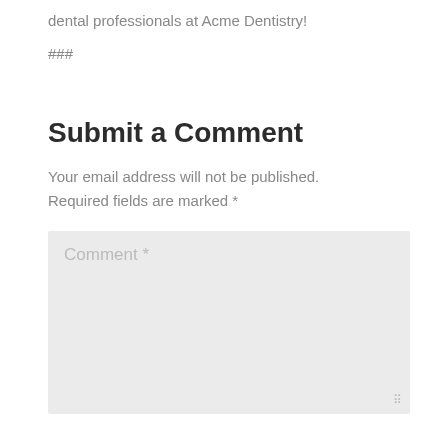dental professionals at Acme Dentistry!
###
Submit a Comment
Your email address will not be published. Required fields are marked *
Comment *